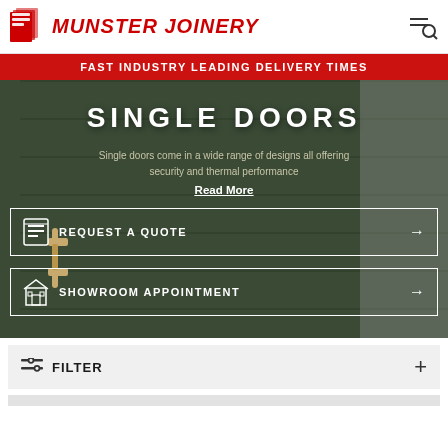MUNSTER JOINERY
FAST INDUSTRY LEADING DELIVERY TIMES
SINGLE DOORS
Single doors come in a wide range of designs all offering security and thermal performance
Read More
REQUEST A QUOTE
SHOWROOM APPOINTMENT
FILTER